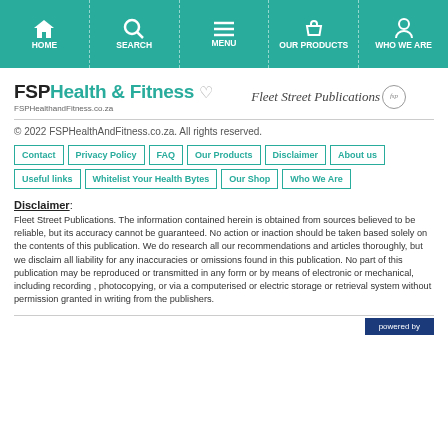HOME | SEARCH | MENU | OUR PRODUCTS | WHO WE ARE
[Figure (logo): FSP Health & Fitness logo with FSPHealthandFitness.co.za subtitle and Fleet Street Publications logo]
© 2022 FSPHealthAndFitness.co.za. All rights reserved.
Contact | Privacy Policy | FAQ | Our Products | Disclaimer | About us | Useful links | Whitelist Your Health Bytes | Our Shop | Who We Are
Disclaimer: Fleet Street Publications. The information contained herein is obtained from sources believed to be reliable, but its accuracy cannot be guaranteed. No action or inaction should be taken based solely on the contents of this publication. We do research all our recommendations and articles thoroughly, but we disclaim all liability for any inaccuracies or omissions found in this publication. No part of this publication may be reproduced or transmitted in any form or by means of electronic or mechanical, including recording , photocopying, or via a computerised or electric storage or retrieval system without permission granted in writing from the publishers.
powered by